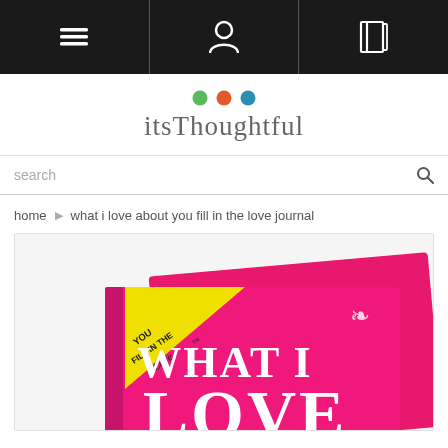[Navigation bar with menu, profile, and book icons]
[Figure (logo): itsThoughtful logo with three colored dots (green, orange/red, teal) above the text 'itsThoughtful' in gray serif font]
search
home ▶ what i love about you fill in the love journal
[Figure (photo): Product photo of 'What I Love' fill-in journal book with hot pink cover and yellow corner triangle reading 'YOU FILL IN THE Love']